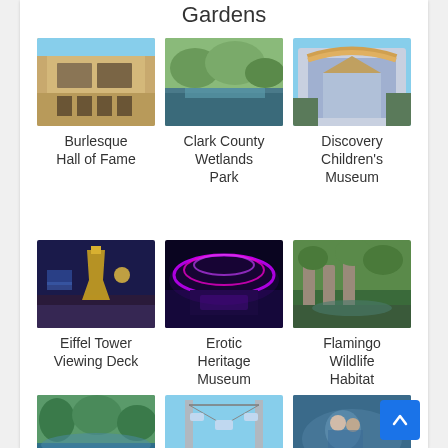Gardens
[Figure (photo): Burlesque Hall of Fame building exterior]
Burlesque Hall of Fame
[Figure (photo): Clark County Wetlands Park natural landscape]
Clark County Wetlands Park
[Figure (photo): Discovery Children's Museum building exterior]
Discovery Children's Museum
[Figure (photo): Eiffel Tower Viewing Deck at night in Las Vegas]
Eiffel Tower Viewing Deck
[Figure (photo): Erotic Heritage Museum with neon lights]
Erotic Heritage Museum
[Figure (photo): Flamingo Wildlife Habitat with greenery]
Flamingo Wildlife Habitat
[Figure (photo): Floyd Lamb park with trees and water]
Floyd Lamb
[Figure (photo): Fly LINO aerial attraction with cables and towers]
Fly LINO
[Figure (photo): FlyOver attraction with people]
FlyOver